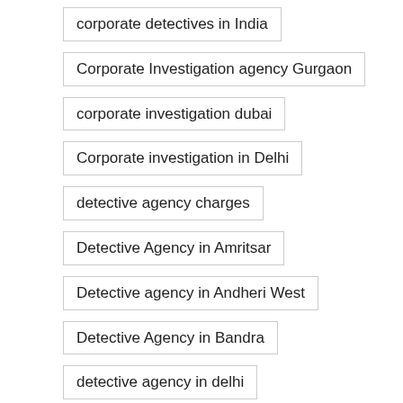corporate detectives in India
Corporate Investigation agency Gurgaon
corporate investigation dubai
Corporate investigation in Delhi
detective agency charges
Detective Agency in Amritsar
Detective agency in Andheri West
Detective Agency in Bandra
detective agency in delhi
detective agency in dubai
Detective Agency in Goa
Detective agency in Gurgaon